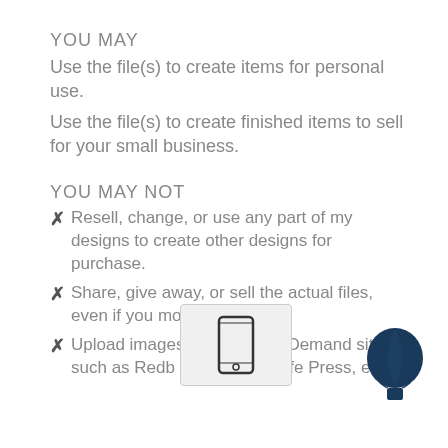YOU MAY
Use the file(s) to create items for personal use.
Use the file(s) to create finished items to sell for your small business.
YOU MAY NOT
✗ Resell, change, or use any part of my designs to create other designs for purchase.
✗ Share, give away, or sell the actual files, even if you modify them.
✗ Upload images to Print On Demand sites such as Redbubble, Zazzle, CafePress, etc...